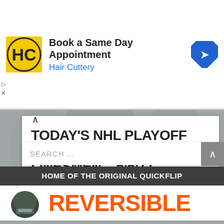[Figure (infographic): Hair Cuttery advertisement banner with logo, headline 'Book a Same Day Appointment', subtext 'Hair Cuttery', and a blue navigation arrow icon]
TODAY'S NHL PLAYOFF REFEREES & LINESMEN – 5/6/17
5.6.17
SEARCH ...
[Figure (infographic): Promotional banner with dark header 'HOME OF THE ORIGINAL QUICKFLIP' and a hockey player helmet image with orange text 'REVERSIBLE']